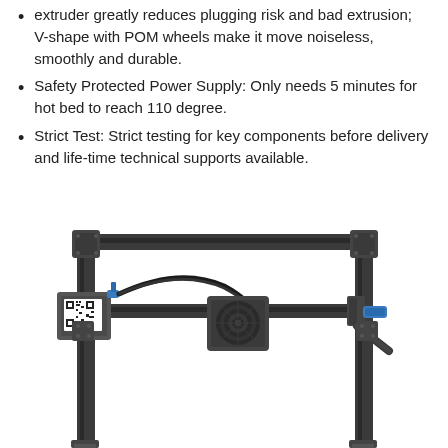extruder greatly reduces plugging risk and bad extrusion; V-shape with POM wheels make it move noiseless, smoothly and durable.
Safety Protected Power Supply: Only needs 5 minutes for hot bed to reach 110 degree.
Strict Test: Strict testing for key components before delivery and life-time technical supports available.
[Figure (photo): 3D printer frame showing the gantry assembly with extruder carriage, motor, and structural aluminum extrusion frame with vertical columns and horizontal crossbar]